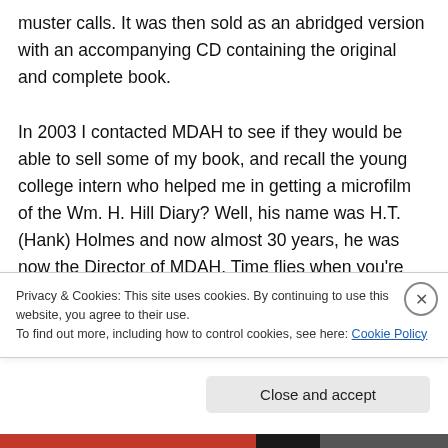muster calls. It was then sold as an abridged version with an accompanying CD containing the original and complete book.

In 2003 I contacted MDAH to see if they would be able to sell some of my book, and recall the young college intern who helped me in getting a microfilm of the Wm. H. Hill Diary? Well, his name was H.T. (Hank) Holmes and now almost 30 years, he was now the Director of MDAH. Time flies when you're having fun.
Privacy & Cookies: This site uses cookies. By continuing to use this website, you agree to their use.
To find out more, including how to control cookies, see here: Cookie Policy